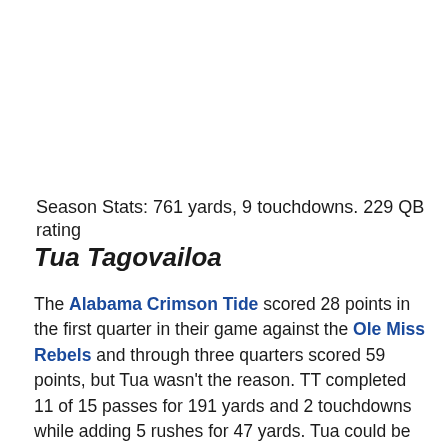Season Stats: 761 yards, 9 touchdowns. 229 QB rating
Tua Tagovailoa
The Alabama Crimson Tide scored 28 points in the first quarter in their game against the Ole Miss Rebels and through three quarters scored 59 points, but Tua wasn't the reason. TT completed 11 of 15 passes for 191 yards and 2 touchdowns while adding 5 rushes for 47 yards. Tua could be the victim of his and his team's success. Alabama is so dynamic with Tua that he isn't needed to put up a large amount of statistics and if you are going to vote for someone who only throws for 190